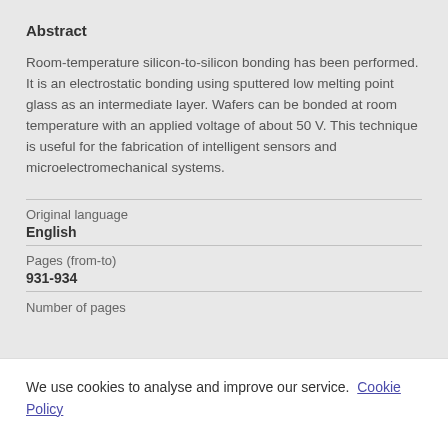Abstract
Room-temperature silicon-to-silicon bonding has been performed. It is an electrostatic bonding using sputtered low melting point glass as an intermediate layer. Wafers can be bonded at room temperature with an applied voltage of about 50 V. This technique is useful for the fabrication of intelligent sensors and microelectromechanical systems.
Original language
English
Pages (from-to)
931-934
Number of pages
We use cookies to analyse and improve our service. Cookie Policy